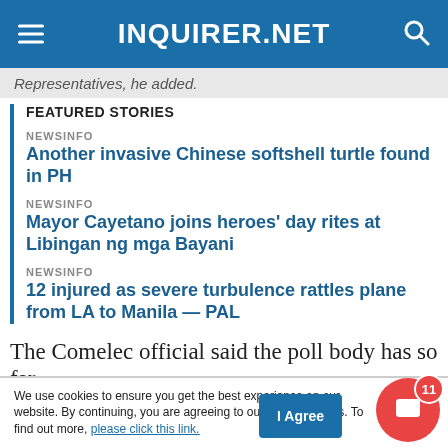INQUIRER.NET
Representatives, he added.
FEATURED STORIES
NEWSINFO
Another invasive Chinese softshell turtle found in PH
NEWSINFO
Mayor Cayetano joins heroes' day rites at Libingan ng mga Bayani
NEWSINFO
12 injured as severe turbulence rattles plane from LA to Manila — PAL
The Comelec official said the poll body has so far
We use cookies to ensure you get the best experience on our website. By continuing, you are agreeing to our use of cookies. To find out more, please click this link.